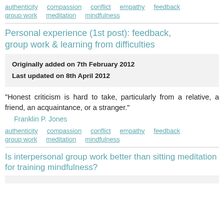authenticity   compassion   conflict   empathy   feedback   group work   meditation   mindfulness
Personal experience (1st post): feedback, group work & learning from difficulties
Originally added on 7th February 2012
Last updated on 8th April 2012
"Honest criticism is hard to take, particularly from a relative, a friend, an acquaintance, or a stranger." Franklin P. Jones
authenticity   compassion   conflict   empathy   feedback   group work   meditation   mindfulness
Is interpersonal group work better than sitting meditation for training mindfulness?